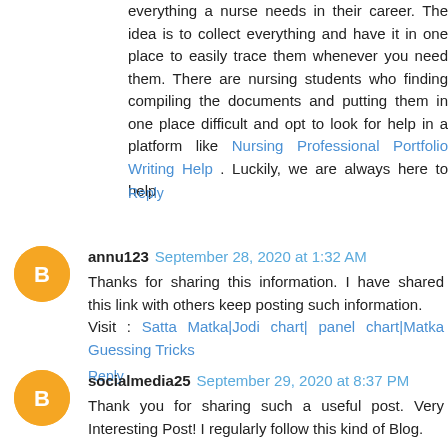everything a nurse needs in their career. The idea is to collect everything and have it in one place to easily trace them whenever you need them. There are nursing students who finding compiling the documents and putting them in one place difficult and opt to look for help in a platform like Nursing Professional Portfolio Writing Help . Luckily, we are always here to help
Reply
annu123  September 28, 2020 at 1:32 AM
Thanks for sharing this information. I have shared this link with others keep posting such information. Visit : Satta Matka|Jodi chart| panel chart|Matka Guessing Tricks
Reply
socialmedia25  September 29, 2020 at 8:37 PM
Thank you for sharing such a useful post. Very Interesting Post! I regularly follow this kind of Blog.